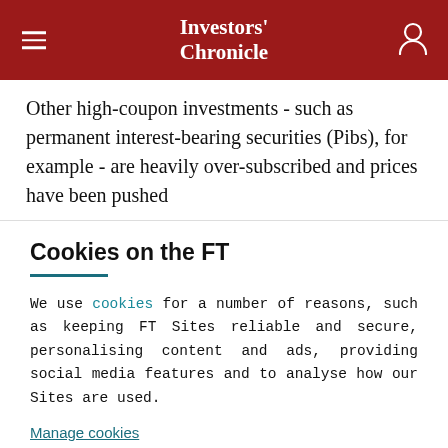Investors' Chronicle
Other high-coupon investments - such as permanent interest-bearing securities (Pibs), for example - are heavily over-subscribed and prices have been pushed
Cookies on the FT
We use cookies for a number of reasons, such as keeping FT Sites reliable and secure, personalising content and ads, providing social media features and to analyse how our Sites are used.
Manage cookies
Accept & continue